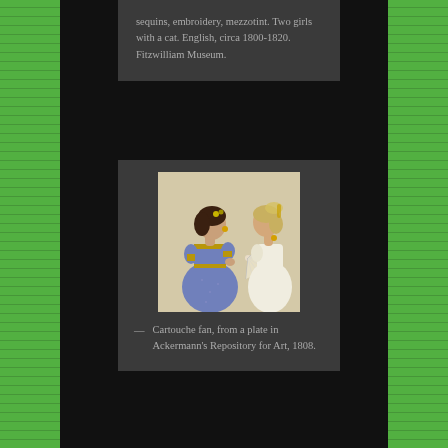sequins, embroidery, mezzotint. Two girls with a cat. English, circa 1800-1820. Fitzwilliam Museum.
[Figure (illustration): A Regency-era fashion plate illustration showing two women in period dress, one in a blue gown with gold trim holding a cartouche fan, and one in a white dress, facing each other in profile.]
— Cartouche fan, from a plate in Ackermann's Repository for Art, 1808.